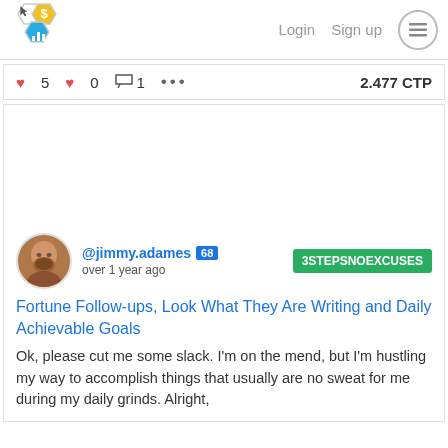[Figure (logo): Hexagonal logo with cursor, dollar sign, and bar chart icons]
Login   Sign up   ☰
♥ 5   ♥ 0   💬 1   •••   2,477 CTP
[Figure (photo): User avatar photo of jimmy.adames, a bald man with a beard, circular crop]
@jimmy.adames 68   3STEPSNOEXCUSES
over 1 year ago
Fortune Follow-ups, Look What They Are Writing and Daily Achievable Goals
Ok, please cut me some slack. I'm on the mend, but I'm hustling my way to accomplish things that usually are no sweat for me during my daily grinds. Alright,